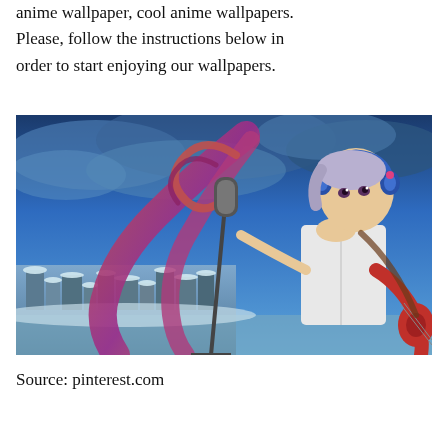anime wallpaper, cool anime wallpapers. Please, follow the instructions below in order to start enjoying our wallpapers.
[Figure (illustration): Anime illustration of a girl with long flowing pink and purple hair, wearing headphones and holding a guitar, standing in front of a microphone on a rooftop with a snowy city skyline and dramatic blue cloudy sky in the background.]
Source: pinterest.com